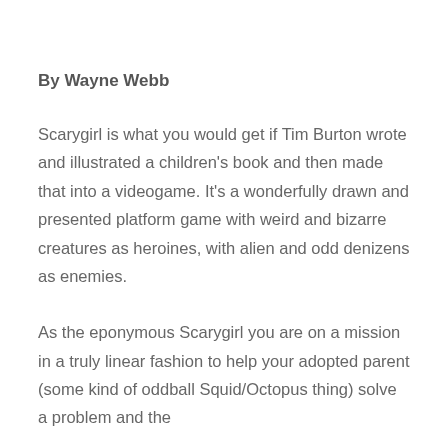By Wayne Webb
Scarygirl is what you would get if Tim Burton wrote and illustrated a children's book and then made that into a videogame. It's a wonderfully drawn and presented platform game with weird and bizarre creatures as heroines, with alien and odd denizens as enemies.
As the eponymous Scarygirl you are on a mission in a truly linear fashion to help your adopted parent (some kind of oddball Squid/Octopus thing) solve a problem and the